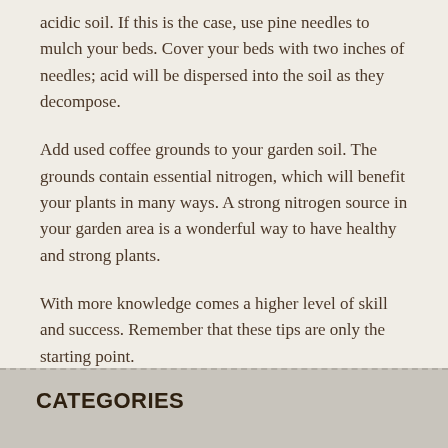acidic soil. If this is the case, use pine needles to mulch your beds. Cover your beds with two inches of needles; acid will be dispersed into the soil as they decompose.
Add used coffee grounds to your garden soil. The grounds contain essential nitrogen, which will benefit your plants in many ways. A strong nitrogen source in your garden area is a wonderful way to have healthy and strong plants.
With more knowledge comes a higher level of skill and success. Remember that these tips are only the starting point.
FILED UNDER: GARDENING TAGGED WITH: PINE NEEDLES
CATEGORIES